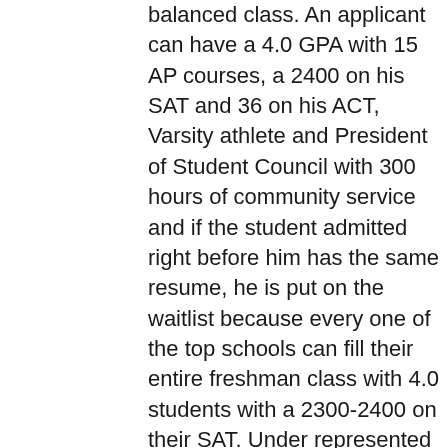balanced class. An applicant can have a 4.0 GPA with 15 AP courses, a 2400 on his SAT and 36 on his ACT, Varsity athlete and President of Student Council with 300 hours of community service and if the student admitted right before him has the same resume, he is put on the waitlist because every one of the top schools can fill their entire freshman class with 4.0 students with a 2300-2400 on their SAT. Under represented minority groups have a higher acceptance rate among their peers, because there aren't as many qualified applicants. Those